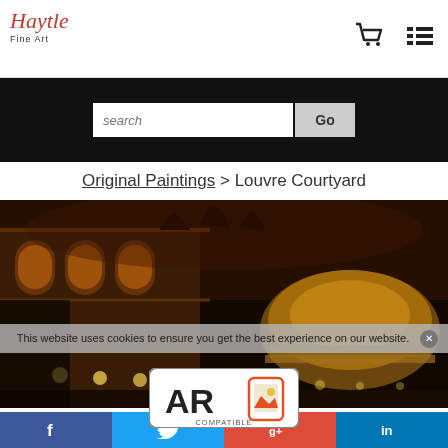Haytle Fine Art
search
Go
Original Paintings > Louvre Courtyard
[Figure (photo): Painting of the Louvre Courtyard at night with illuminated building facade and dome, warm golden lighting against dark sky]
This website uses cookies to ensure you get the best experience on our website.
[Figure (logo): AR Compatible badge logo]
f | Twitter bird | g+ | in